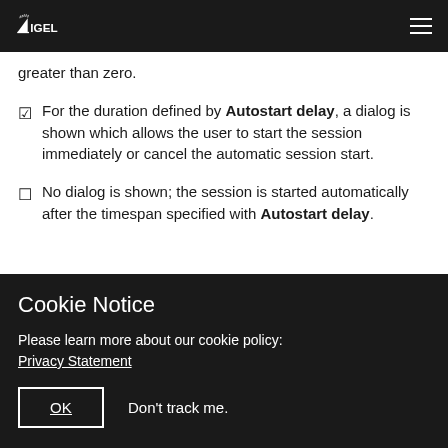IGEL
greater than zero.
For the duration defined by Autostart delay, a dialog is shown which allows the user to start the session immediately or cancel the automatic session start.
No dialog is shown; the session is started automatically after the timespan specified with Autostart delay.
Cookie Notice
Please learn more about our cookie policy:
Privacy Statement
OK   Don't track me.